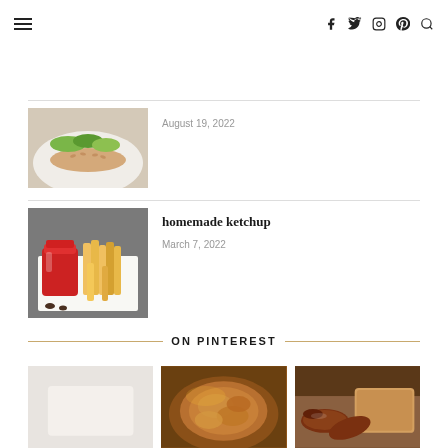≡ (hamburger menu) | f twitter instagram pinterest search
[Figure (photo): Partial view of a burger/sandwich on a sesame bun with greens, on a white plate]
August 19, 2022
homemade ketchup
March 7, 2022
[Figure (photo): Ketchup in a glass jar next to a pile of french fries on a dark slate board]
ON PINTEREST
[Figure (photo): Three Pinterest images: a plain light photo, caramelized onions/tarte tatin, and sausages with bread]
Three Pinterest preview images